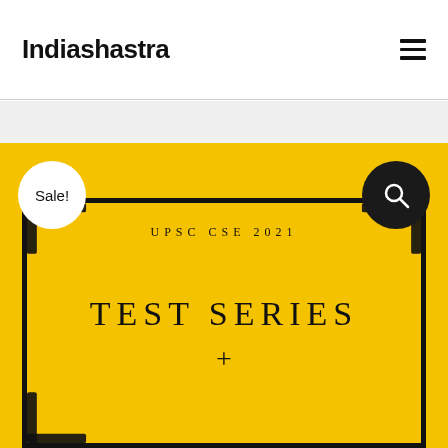Indiashastra
[Figure (illustration): Yellow product card for UPSC CSE 2021 Test Series with a Sale badge (white circle, top-left), a search icon (black circle, top-right), and a black-bordered frame containing the text 'UPSC CSE 2021' and 'TEST SERIES +' on a golden-yellow background.]